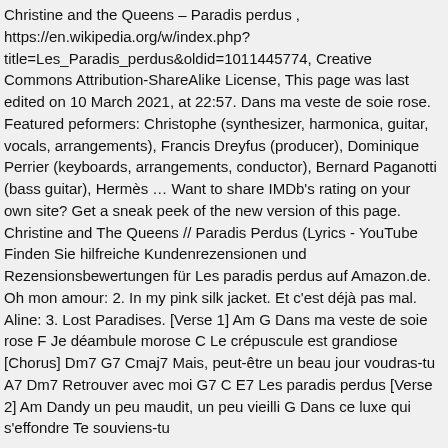Christine and the Queens – Paradis perdus , https://en.wikipedia.org/w/index.php?title=Les_Paradis_perdus&oldid=1011445774, Creative Commons Attribution-ShareAlike License, This page was last edited on 10 March 2021, at 22:57. Dans ma veste de soie rose. Featured peformers: Christophe (synthesizer, harmonica, guitar, vocals, arrangements), Francis Dreyfus (producer), Dominique Perrier (keyboards, arrangements, conductor), Bernard Paganotti (bass guitar), Hermès … Want to share IMDb's rating on your own site? Get a sneak peek of the new version of this page. Christine and The Queens // Paradis Perdus (Lyrics - YouTube Finden Sie hilfreiche Kundenrezensionen und Rezensionsbewertungen für Les paradis perdus auf Amazon.de. Oh mon amour: 2. In my pink silk jacket. Et c'est déjà pas mal. Aline: 3. Lost Paradises. [Verse 1] Am G Dans ma veste de soie rose F Je déambule morose C Le crépuscule est grandiose [Chorus] Dm7 G7 Cmaj7 Mais, peut-être un beau jour voudras-tu A7 Dm7 Retrouver avec moi G7 C E7 Les paradis perdus [Verse 2] Am Dandy un peu maudit, un peu vieilli G Dans ce luxe qui s'effondre Te souviens-tu